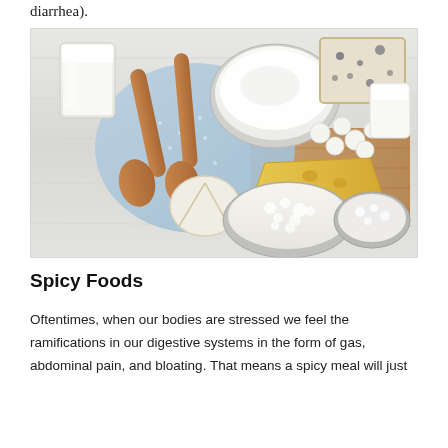diarrhea).
[Figure (photo): Overhead flat-lay photo of various dairy products on a light wood surface: a glass of milk, two wooden spoons on a blue cloth napkin, a bowl of sour cream or yogurt, cheese (blue cheese and yellow Swiss-style), small white cheese balls, a pitcher of milk, cottage cheese in a glass bowl, and a small round soft cheese on a cutting board.]
Spicy Foods
Oftentimes, when our bodies are stressed we feel the ramifications in our digestive systems in the form of gas, abdominal pain, and bloating. That means a spicy meal will just